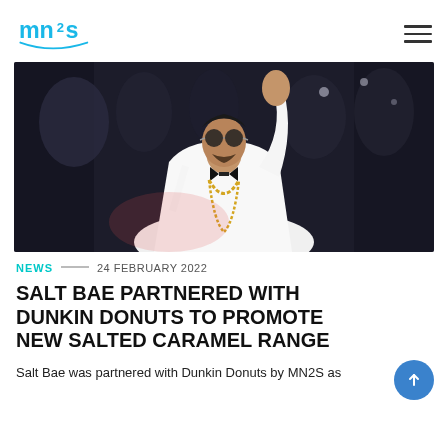mn2s [logo] [hamburger menu]
[Figure (photo): Man in white suit with gold chain necklace, round sunglasses, and black bow tie, raising one hand, photographed at what appears to be a red carpet event with blurred crowd in background]
NEWS — 24 FEBRUARY 2022
SALT BAE PARTNERED WITH DUNKIN DONUTS TO PROMOTE NEW SALTED CARAMEL RANGE
Salt Bae was partnered with Dunkin Donuts by MN2S as